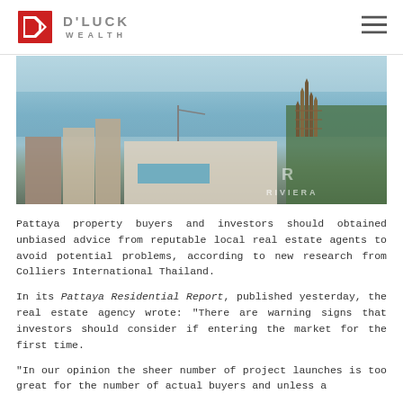D'LUCK WEALTH
[Figure (photo): Aerial photograph of Pattaya coastline showing luxury hotel buildings with a rooftop pool, the ocean, and an ornate Thai-style wooden temple structure (Sanctuary of Truth) on a headland in the background. RIVIERA watermark visible in lower right corner.]
Pattaya property buyers and investors should obtained unbiased advice from reputable local real estate agents to avoid potential problems, according to new research from Colliers International Thailand.
In its Pattaya Residential Report, published yesterday, the real estate agency wrote: "There are warning signs that investors should consider if entering the market for the first time.
"In our opinion the sheer number of project launches is too great for the number of actual buyers and unless a